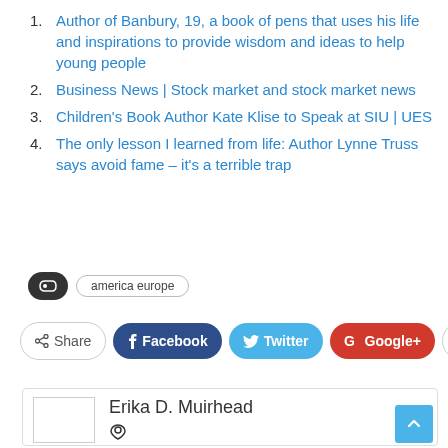Author of Banbury, 19, a book of pens that uses his life and inspirations to provide wisdom and ideas to help young people
Business News | Stock market and stock market news
Children's Book Author Kate Klise to Speak at SIU | UES
The only lesson I learned from life: Author Lynne Truss says avoid fame – it's a terrible trap
america europe
Share  Facebook  Twitter  Google+
Erika D. Muirhead